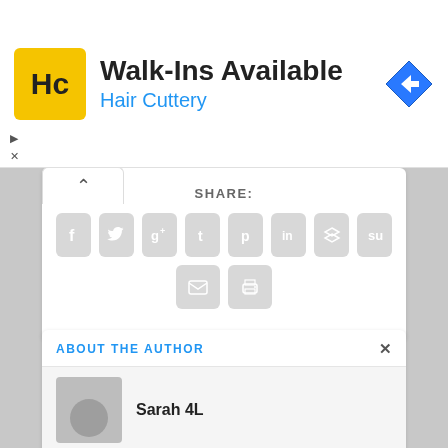[Figure (screenshot): Advertisement banner for Hair Cuttery showing logo, Walk-Ins Available text, and navigation icon]
[Figure (screenshot): Social share panel with icons for Facebook, Twitter, Google+, Tumblr, Pinterest, LinkedIn, Buffer, StumbleUpon, Email, and Print]
ABOUT THE AUTHOR
Sarah 4L